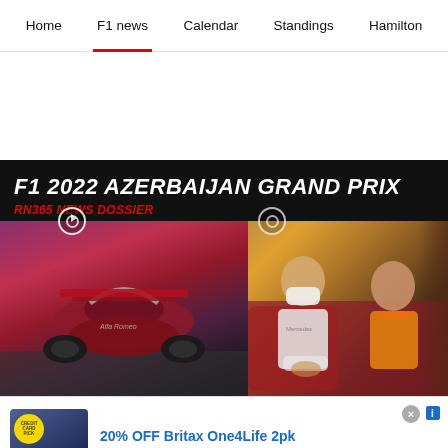Home | F1 news | Calendar | Standings | Hamilton
F1 2022 AZERBAIJAN GRAND PRIX
RN365 NEWS DOSSIER
[Figure (photo): Left: rear view of a red F1 car on track. Right: Lewis Hamilton in white mask seated next to a man in yellow McLaren shirt.]
20% OFF Britax One4Life 2pk
one 4 life cadet
www.albeebaby.com